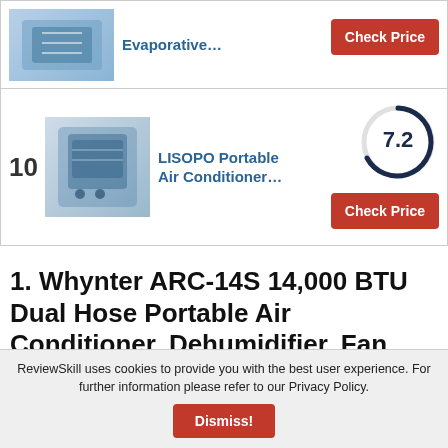[Figure (photo): Evaporative air cooler product image (partially visible at top)]
Evaporative…
Check Price
[Figure (photo): LISOPO Portable Air Conditioner product image]
10
LISOPO Portable Air Conditioner…
7.2
Check Price
1. Whynter ARC-14S 14,000 BTU Dual Hose Portable Air Conditioner, Dehumidifier, Fan with Activated Carbon Filter plus Storage bag for
ReviewSkill uses cookies to provide you with the best user experience. For further information please refer to our Privacy Policy.
Dismiss!